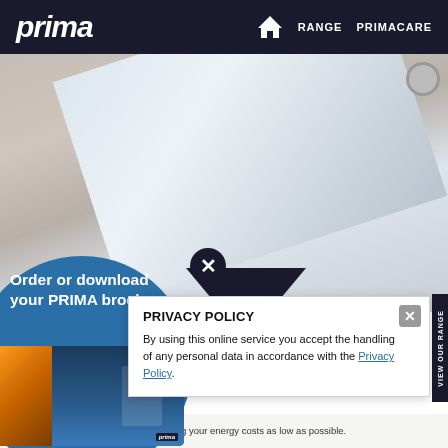prima   RANGE   PRIMACARE
[Figure (photo): Hero image showing kitchen appliance surface with diagonal silver/chrome element on beige/grey background]
[Figure (illustration): Blue circle brochure popup with text 'Order or download your PRIMA brochure' and an image of brochures/tablets showing kitchen products, with close (X) button]
PRIVACY POLICY
By using this online service you accept the handling of any personal data in accordance with the Privacy Policy.
need to use it, you will always be keeping your energy costs as low as possible.